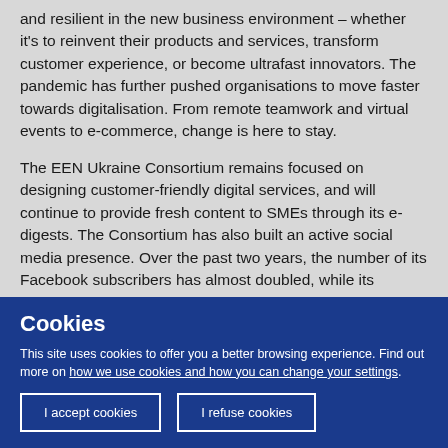and resilient in the new business environment – whether it's to reinvent their products and services, transform customer experience, or become ultrafast innovators. The pandemic has further pushed organisations to move faster towards digitalisation. From remote teamwork and virtual events to e-commerce, change is here to stay.
The EEN Ukraine Consortium remains focused on designing customer-friendly digital services, and will continue to provide fresh content to SMEs through its e-digests. The Consortium has also built an active social media presence. Over the past two years, the number of its Facebook subscribers has almost doubled, while its LinkedIn page –
Cookies
This site uses cookies to offer you a better browsing experience. Find out more on how we use cookies and how you can change your settings.
I accept cookies
I refuse cookies